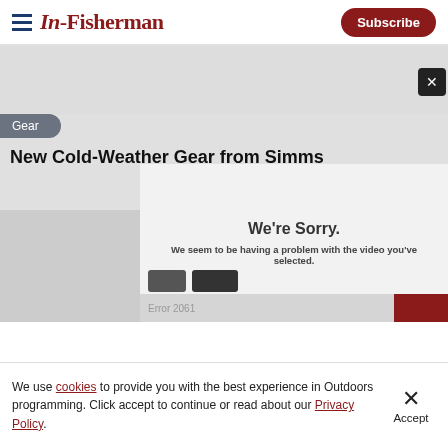In-Fisherman | Subscribe
Gear
New Cold-Weather Gear from Simms
[Figure (screenshot): Video player showing error message: We're Sorry. We seem to be having a problem with the video you've selected. Error panel at bottom with close button.]
We're Sorry.
We seem to be having a problem with the video you've selected.
We use cookies to provide you with the best experience in Outdoors programming. Click accept to continue or read about our Privacy Policy.